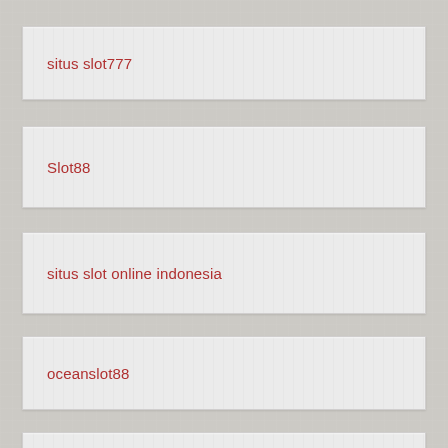situs slot777
Slot88
situs slot online indonesia
oceanslot88
niastoto